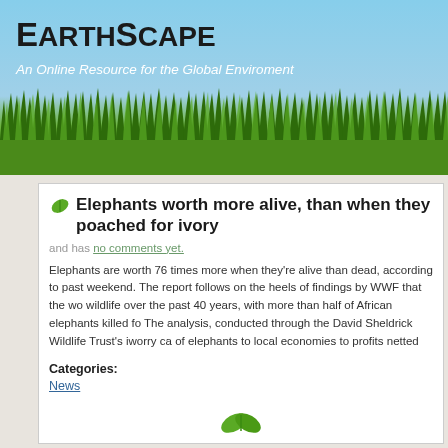EarthScape
An Online Resource for the Global Enviroment
[Figure (illustration): Grass and sky illustration forming the banner background of the EarthScape website]
Elephants worth more alive, than when they poached for ivory
and has no comments yet.
Elephants are worth 76 times more when they're alive than dead, according to past weekend. The report follows on the heels of findings by WWF that the wo wildlife over the past 40 years, with more than half of African elephants killed fo The analysis, conducted through the David Sheldrick Wildlife Trust's iworry ca of elephants to local economies to profits netted through the illegal ivory trade.
Categories:
News